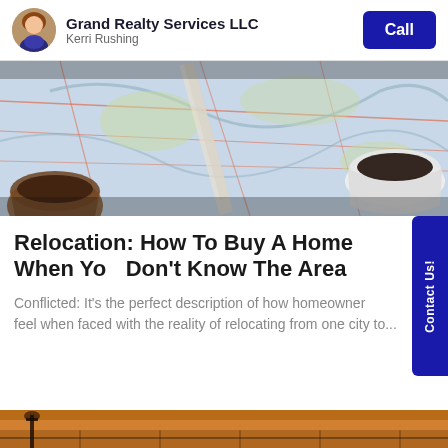Grand Realty Services LLC
Kerri Rushing
[Figure (photo): Aerial view of a paper map with coffee cups and a pencil, suggesting relocation planning]
Relocation: How To Buy A Home When You Don't Know The Area
Conflicted: It's the perfect description of how homeowners feel when faced with the reality of relocating from one city to...
[Figure (photo): Partial bottom image strip showing a warm golden-toned outdoor scene]